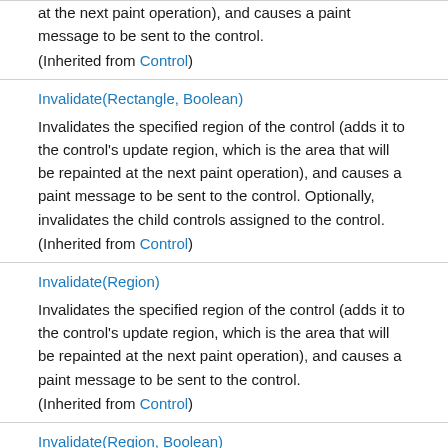at the next paint operation), and causes a paint message to be sent to the control.
(Inherited from Control)
Invalidate(Rectangle, Boolean)
Invalidates the specified region of the control (adds it to the control's update region, which is the area that will be repainted at the next paint operation), and causes a paint message to be sent to the control. Optionally, invalidates the child controls assigned to the control.
(Inherited from Control)
Invalidate(Region)
Invalidates the specified region of the control (adds it to the control's update region, which is the area that will be repainted at the next paint operation), and causes a paint message to be sent to the control.
(Inherited from Control)
Invalidate(Region, Boolean)
Invalidates the specified region of the control (adds it to the control's update region, which is the area that will be repainted at the next paint operation)...